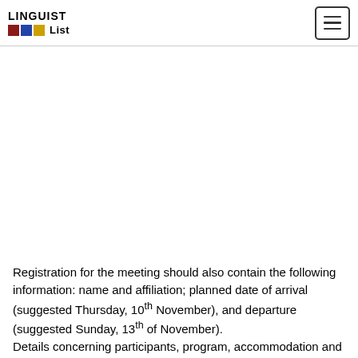LINGUIST List
Registration for the meeting should also contain the following information: name and affiliation; planned date of arrival (suggested Thursday, 10th November), and departure (suggested Sunday, 13th of November).
Details concerning participants, program, accommodation and organizational matters will be communicated in further circulars.